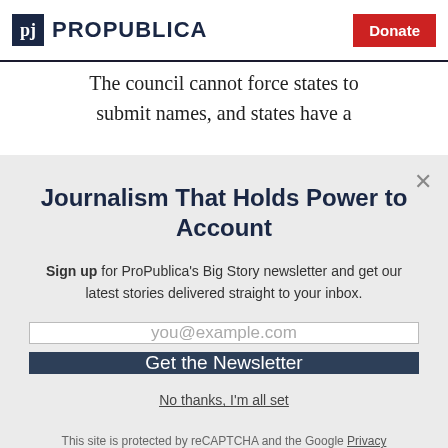ProPublica | Donate
The council cannot force states to submit names, and states have a
Journalism That Holds Power to Account
Sign up for ProPublica's Big Story newsletter and get our latest stories delivered straight to your inbox.
you@example.com
Get the Newsletter
No thanks, I'm all set
This site is protected by reCAPTCHA and the Google Privacy Policy and Terms of Service apply.